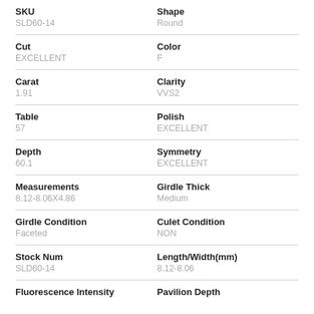| Field | Value |
| --- | --- |
| SKU | SLD60-14 |
| Shape | Round |
| Cut | EXCELLENT |
| Color | F |
| Carat | 1.91 |
| Clarity | VVS2 |
| Table | 57 |
| Polish | EXCELLENT |
| Depth | 60.1 |
| Symmetry | EXCELLENT |
| Measurements | 8.12-8.06X4.86 |
| Girdle Thick | Medium |
| Girdle Condition | Faceted |
| Culet Condition | NON |
| Stock Num | SLD60-14 |
| Length/Width(mm) | 8.12-8.06 |
| Fluorescence Intensity |  |
| Pavilion Depth |  |